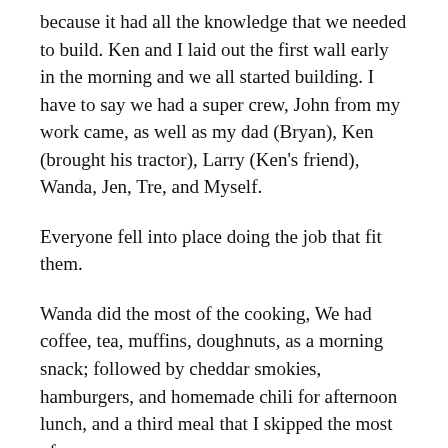because it had all the knowledge that we needed to build. Ken and I laid out the first wall early in the morning and we all started building. I have to say we had a super crew, John from my work came, as well as my dad (Bryan), Ken (brought his tractor), Larry (Ken's friend), Wanda, Jen, Tre, and Myself.
Everyone fell into place doing the job that fit them.
Wanda did the most of the cooking, We had coffee, tea, muffins, doughnuts, as a morning snack; followed by cheddar smokies, hamburgers, and homemade chili for afternoon lunch, and a third meal that I skipped the most of.
Ken worked alongside me, double checking my measurements and guiding me where I needed it, he did the framing, plus lot leveling, wall hoisting, and general